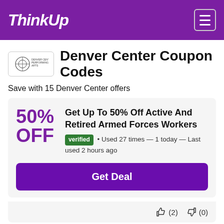ThinkUp
Denver Center Coupon Codes
Save with 15 Denver Center offers
50% OFF
Get Up To 50% Off Active And Retired Armed Forces Workers
verified • Used 27 times — 1 today — Last used 2 hours ago
Get Deal
(2)  (0)